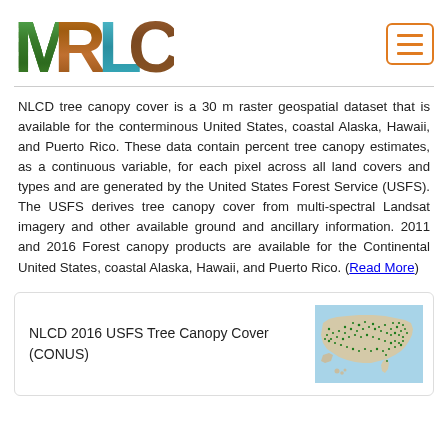MRLC
NLCD tree canopy cover is a 30 m raster geospatial dataset that is available for the conterminous United States, coastal Alaska, Hawaii, and Puerto Rico. These data contain percent tree canopy estimates, as a continuous variable, for each pixel across all land covers and types and are generated by the United States Forest Service (USFS). The USFS derives tree canopy cover from multi-spectral Landsat imagery and other available ground and ancillary information. 2011 and 2016 Forest canopy products are available for the Continental United States, coastal Alaska, Hawaii, and Puerto Rico. (Read More)
NLCD 2016 USFS Tree Canopy Cover (CONUS)
[Figure (map): Map of the continental United States showing NLCD 2016 USFS tree canopy cover with green dots indicating tree canopy coverage]